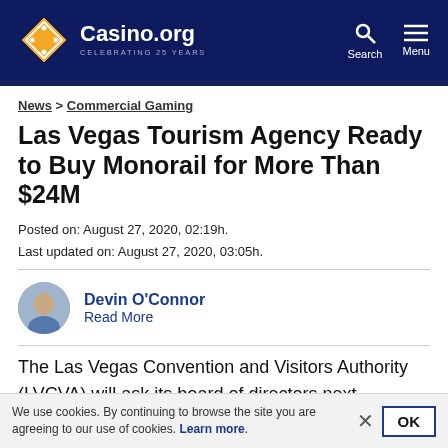Casino.org CELEBRATING 25 YEARS
News > Commercial Gaming
Las Vegas Tourism Agency Ready to Buy Monorail for More Than $24M
Posted on: August 27, 2020, 02:19h.
Last updated on: August 27, 2020, 03:05h.
Devin O'Connor
Read More
The Las Vegas Convention and Visitors Authority (LVCVA) will ask its board of directors next Tuesday, September 1, to approve its plan to spend $24,260,000 to acquire the Las
We use cookies. By continuing to browse the site you are agreeing to our use of cookies. Learn more.